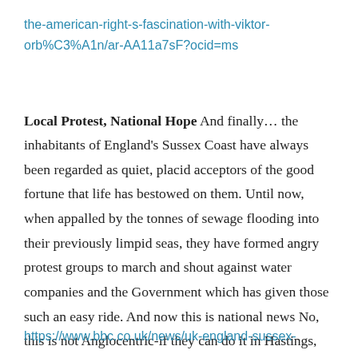the-american-right-s-fascination-with-viktor-orb%C3%A1n/ar-AA11a7sF?ocid=ms
Local Protest, National Hope And finally… the inhabitants of England's Sussex Coast have always been regarded as quiet, placid acceptors of the good fortune that life has bestowed on them. Until now, when appalled by the tonnes of sewage flooding into their previously limpid seas, they have formed angry protest groups to march and shout against water companies and the Government which has given those such an easy ride. And now this is national news No, this is not Anglocentric-if they can do it in Hastings, why can't you in your country?
https://www.bbc.co.uk/news/uk-england-sussex-